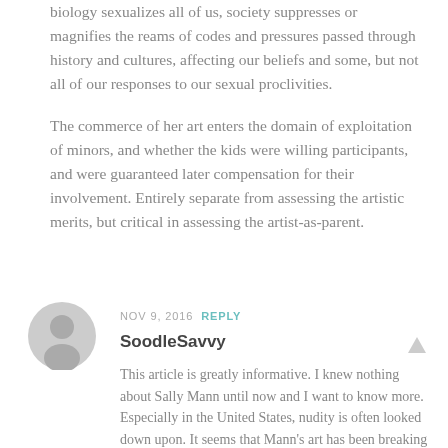biology sexualizes all of us, society suppresses or magnifies the reams of codes and pressures passed through history and cultures, affecting our beliefs and some, but not all of our responses to our sexual proclivities.
The commerce of her art enters the domain of exploitation of minors, and whether the kids were willing participants, and were guaranteed later compensation for their involvement. Entirely separate from assessing the artistic merits, but critical in assessing the artist-as-parent.
NOV 9, 2016 REPLY
[Figure (illustration): Grey circular user avatar/profile icon]
SoodleSavvy
This article is greatly informative. I knew nothing about Sally Mann until now and I want to know more. Especially in the United States, nudity is often looked down upon. It seems that Mann's art has been breaking barriers and the best art not only contains an easily disputed meaning but also invites change or action. Lovely photos and a great article